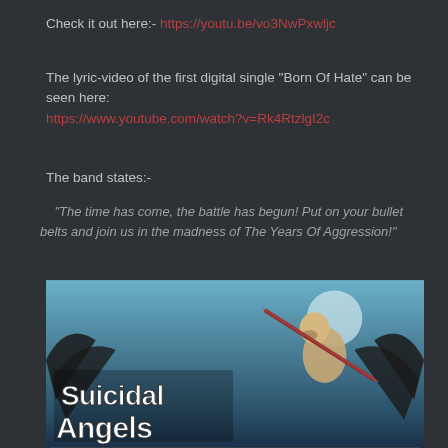Check it out here:- https://youtu.be/vo3NwPxwljc
The lyric-video of the first digital single "Born Of Hate" can be seen here:
https://www.youtube.com/watch?v=Rk4RtzlgI2c
The band states:-
"The time has come, the battle has begun! Put on your bullet belts and join us in the madness of The Years Of Aggression!"
Pre-order the album here: www.yearsofaggression.noiseart.eu
[Figure (illustration): Album artwork for Suicidal Angels showing band logo in decorative metal lettering and a skeletal creature with wings holding a weapon, teal/blue background]